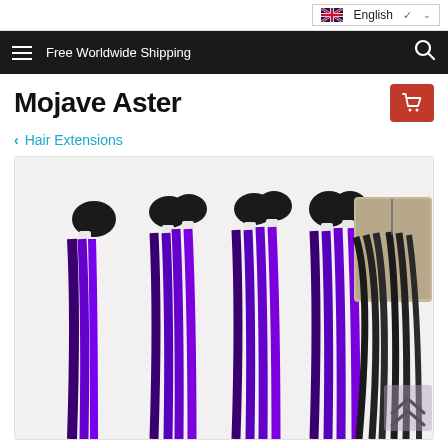English (language selector)
Free Worldwide Shipping
Mojave Aster
Hair Extensions
[Figure (photo): Multiple black-to-purple ombre hair extension bundles and a lace closure piece arranged side by side, showing straight hair transitioning from black roots to bright purple ends.]